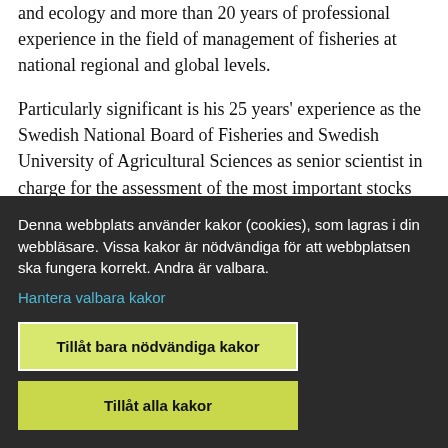and ecology and more than 20 years of professional experience in the field of management of fisheries at national regional and global levels.
Particularly significant is his 25 years' experience as the Swedish National Board of Fisheries and Swedish University of Agricultural Sciences as senior scientist in charge for the assessment of the most important stocks of both the North Sea and
Denna webbplats använder kakor (cookies), som lagras i din webbläsare. Vissa kakor är nödvändiga för att webbplatsen ska fungera korrekt. Andra är valbara.
Hantera valbara kakor
Tillåt bara nödvändiga kakor
Tillåt alla kakor